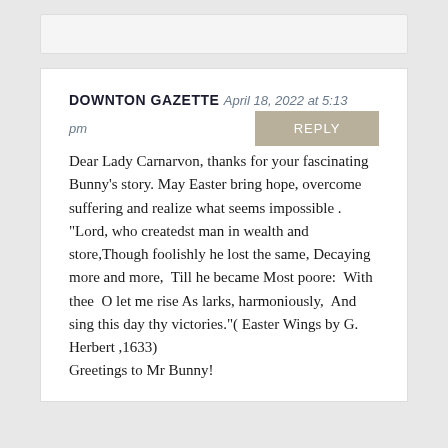DOWNTON GAZETTE April 18, 2022 at 5:13 pm
Dear Lady Carnarvon, thanks for your fascinating Bunny's story. May Easter bring hope, overcome suffering and realize what seems impossible .
"Lord, who createdst man in wealth and store,Though foolishly he lost the same, Decaying more and more,  Till he became Most poore:  With thee  O let me rise As larks, harmoniously,  And sing this day thy victories." ( Easter Wings by G. Herbert ,1633)
Greetings to Mr Bunny!